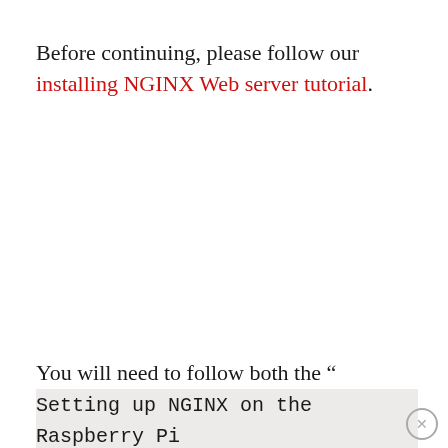Before continuing, please follow our installing NGINX Web server tutorial.
You will need to follow both the “Setting up NGINX on the Raspberry Pi” and “Configuring NGINX for PHP” sections included